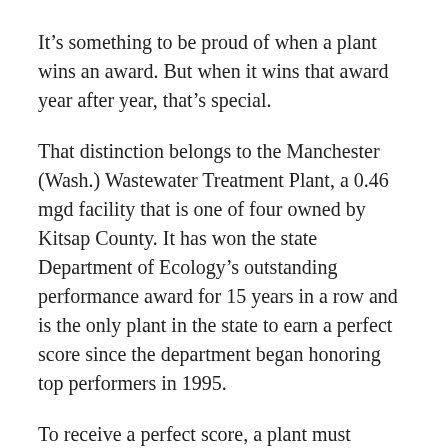It’s something to be proud of when a plant wins an award. But when it wins that award year after year, that’s special.
That distinction belongs to the Manchester (Wash.) Wastewater Treatment Plant, a 0.46 mgd facility that is one of four owned by Kitsap County. It has won the state Department of Ecology’s outstanding performance award for 15 years in a row and is the only plant in the state to earn a perfect score since the department began honoring top performers in 1995.
To receive a perfect score, a plant must consistently meet every condition of its permit, take every water sample, and pass every on-site inspection. Located in a community of 2,400 residents, the plant serves light industry, Manchester State Park, a U.S. EPA